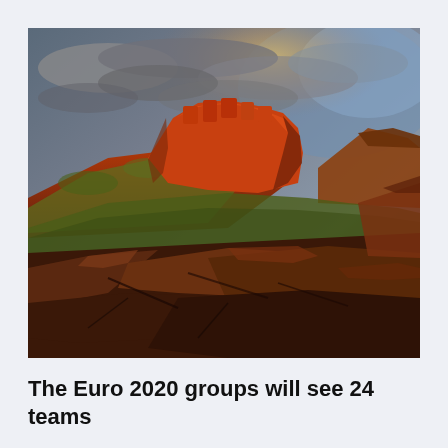[Figure (photo): Landscape photo of red rock canyon formations with orange-lit sandstone cliffs under a dramatic cloudy sky at sunset/dusk, with green scrubby vegetation on the hillside and rocky foreground]
The Euro 2020 groups will see 24 teams